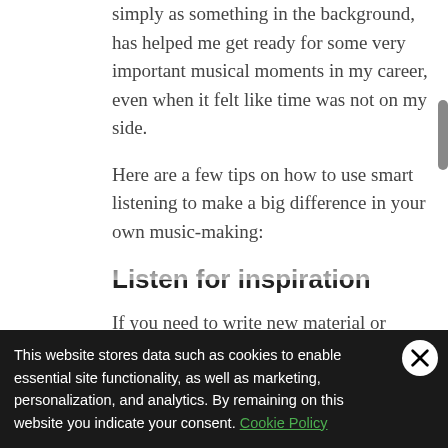simply as something in the background, has helped me get ready for some very important musical moments in my career, even when it felt like time was not on my side.
Here are a few tips on how to use smart listening to make a big difference in your own music-making:
Listen for inspiration
If you need to write new material or pump yourself up for an upcoming recording date, listening far and wide can set you on
This website stores data such as cookies to enable essential site functionality, as well as marketing, personalization, and analytics. By remaining on this website you indicate your consent. Cookie Policy